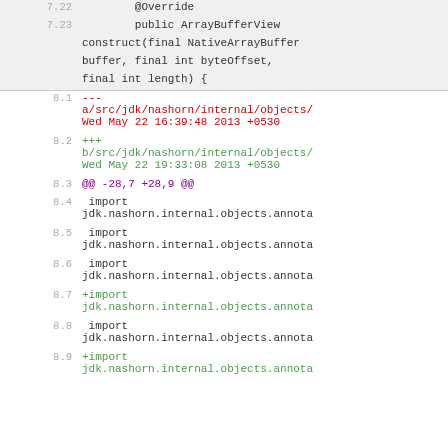7.22  @Override
7.23  public ArrayBufferView construct(final NativeArrayBuffer buffer, final int byteOffset, final int length) {
8.1  --- a/src/jdk/nashorn/internal/objects/  Wed May 22 16:39:48 2013 +0530
8.2  +++ b/src/jdk/nashorn/internal/objects/  Wed May 22 19:33:08 2013 +0530
8.3  @@ -28,7 +28,9 @@
8.4  import jdk.nashorn.internal.objects.annota
8.5  import jdk.nashorn.internal.objects.annota
8.6  import jdk.nashorn.internal.objects.annota
8.7  +import jdk.nashorn.internal.objects.annota
8.8  import jdk.nashorn.internal.objects.annota
8.9  +import jdk.nashorn.internal.objects.annota